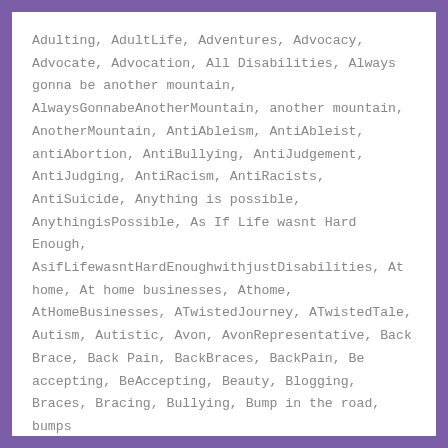Adulting, AdultLife, Adventures, Advocacy, Advocate, Advocation, All Disabilities, Always gonna be another mountain, AlwaysGonnabeAnotherMountain, another mountain, AnotherMountain, AntiAbleism, AntiAbleist, antiAbortion, AntiBullying, AntiJudgement, AntiJudging, AntiRacism, AntiRacists, AntiSuicide, Anything is possible, AnythingisPossible, As If Life wasnt Hard Enough, AsifLifewasntHardEnoughwithjustDisabilities, At home, At home businesses, Athome, AtHomeBusinesses, ATwistedJourney, ATwistedTale, Autism, Autistic, Avon, AvonRepresentative, Back Brace, Back Pain, BackBraces, BackPain, Be accepting, BeAccepting, Beauty, Blogging, Braces, Bracing, Bullying, Bump in the road, bumps